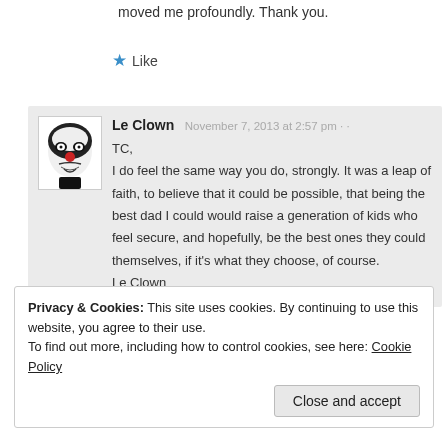moved me profoundly. Thank you.
★ Like
Le Clown  November 7, 2013 at 2:57 pm
TC,
I do feel the same way you do, strongly. It was a leap of faith, to believe that it could be possible, that being the best dad I could would raise a generation of kids who feel secure, and hopefully, be the best ones they could themselves, if it's what they choose, of course.
Le Clown
Privacy & Cookies: This site uses cookies. By continuing to use this website, you agree to their use.
To find out more, including how to control cookies, see here: Cookie Policy
Close and accept